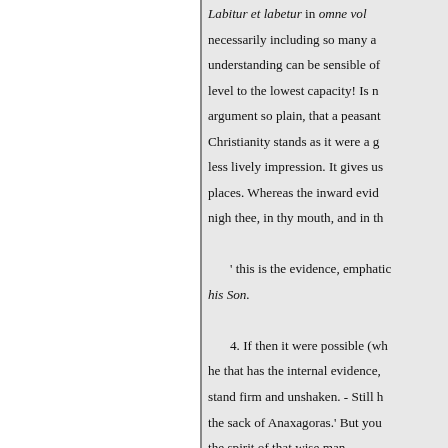Labitur et labetur in omne volubile volvetur necessarily including so many an understanding can be sensible of level to the lowest capacity! Is n argument so plain, that a peasant Christianity stands as it were a g less lively impression. It gives us places. Whereas the inward evide nigh thee, in thy mouth, and in th ' this is the evidence, emphatic his Son. 4. If then it were possible (wh he that has the internal evidence, stand firm and unshaken. - Still h the sack of Anaxagoras.' But you the spirit of that wise man. 5. I have sometimes been alme permitted the external evidence o that men (of reflection especially also, and attend to the light shini Nay, it seems, (if it be allowed f particularly in this age, God suff